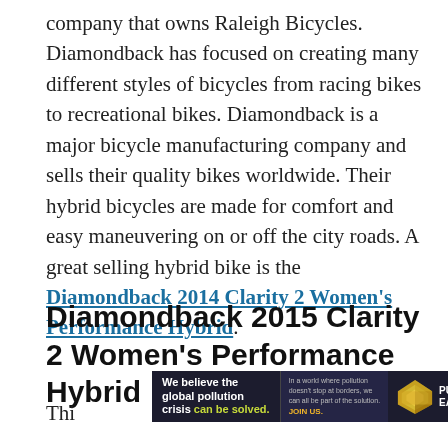company that owns Raleigh Bicycles. Diamondback has focused on creating many different styles of bicycles from racing bikes to recreational bikes. Diamondback is a major bicycle manufacturing company and sells their quality bikes worldwide. Their hybrid bicycles are made for comfort and easy maneuvering on or off the city roads. A great selling hybrid bike is the Diamondback 2014 Clarity 2 Women's Performance Hybrid.
Diamondback 2015 Clarity 2 Women's Performance Hybrid
Thi...
[Figure (other): Advertisement banner for Pure Earth organization with text 'We believe the global pollution crisis can be solved.' and 'In a world where pollution doesn't stop at borders, we can all be part of the solution. JOIN US.' with Pure Earth logo.]